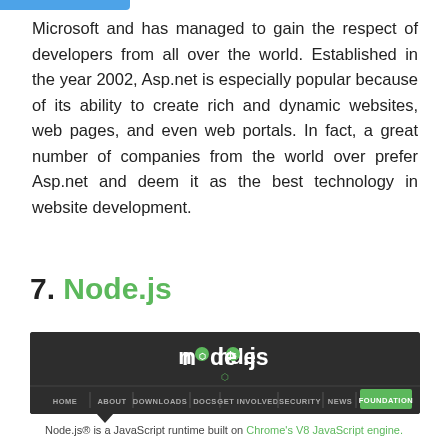Microsoft and has managed to gain the respect of developers from all over the world. Established in the year 2002, Asp.net is especially popular because of its ability to create rich and dynamic websites, web pages, and even web portals. In fact, a great number of companies from the world over prefer Asp.net and deem it as the best technology in website development.
7. Node.js
[Figure (screenshot): Screenshot of the Node.js official website showing the Node.js logo with a green hexagonal icon, and a navigation bar with links: HOME, ABOUT, DOWNLOADS, DOCS, GET INVOLVED, SECURITY, NEWS, FOUNDATION (highlighted in green).]
Node.js® is a JavaScript runtime built on Chrome's V8 JavaScript engine.